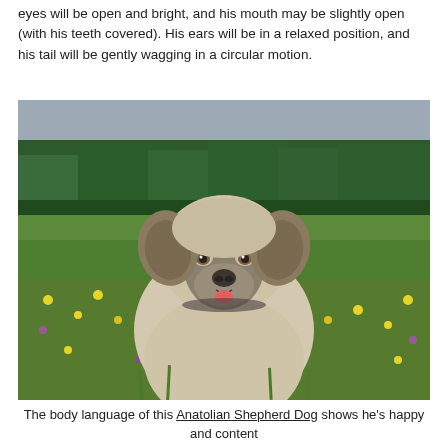eyes will be open and bright, and his mouth may be slightly open (with his teeth covered). His ears will be in a relaxed position, and his tail will be gently wagging in a circular motion.
[Figure (photo): A large Anatolian Shepherd Dog with a fawn and grey coat sitting in a meadow full of yellow and purple wildflowers, with a forest of green trees in the background under an overcast sky. The dog's tongue is slightly visible and has a relaxed, content expression.]
The body language of this Anatolian Shepherd Dog shows he's happy and content